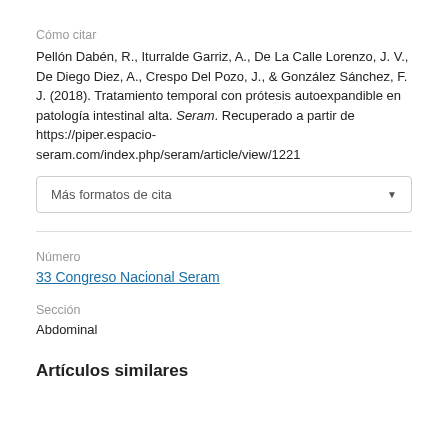Cómo citar
Pellón Dabén, R., Iturralde Garriz, A., De La Calle Lorenzo, J. V., De Diego Diez, A., Crespo Del Pozo, J., & González Sánchez, F. J. (2018). Tratamiento temporal con prótesis autoexpandible en patología intestinal alta. Seram. Recuperado a partir de https://piper.espacio-seram.com/index.php/seram/article/view/1221
Más formatos de cita
Número
33 Congreso Nacional Seram
Sección
Abdominal
Artículos similares